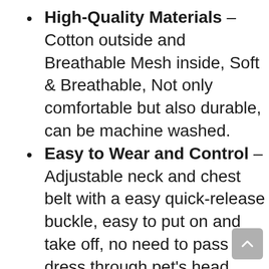High-Quality Materials – Cotton outside and Breathable Mesh inside, Soft & Breathable, Not only comfortable but also durable, can be machine washed.
Easy to Wear and Control – Adjustable neck and chest belt with a easy quick-release buckle, easy to put on and take off, no need to pass the dress through pet's head, convenient and fast.
Match with Leash – Dress with a matching leash, so you do not need to struggle to find another leash, a D